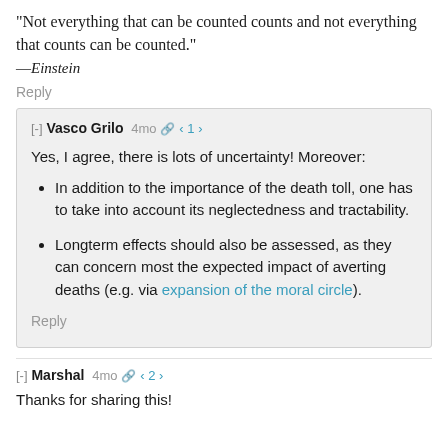"Not everything that can be counted counts and not everything that counts can be counted." —Einstein
Reply
[-] Vasco Grilo 4mo 1
Yes, I agree, there is lots of uncertainty! Moreover:
In addition to the importance of the death toll, one has to take into account its neglectedness and tractability.
Longterm effects should also be assessed, as they can concern most the expected impact of averting deaths (e.g. via expansion of the moral circle).
Reply
[-] Marshal 4mo 2
Thanks for sharing this!